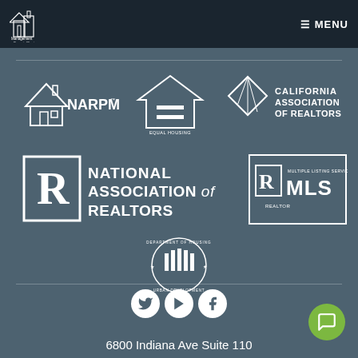Management Inn Property Management — MENU
[Figure (logo): NARPM logo — house icon with NARPM text]
[Figure (logo): Equal Housing Opportunity logo]
[Figure (logo): California Association of Realtors logo]
[Figure (logo): National Association of Realtors logo]
[Figure (logo): Multiple Listing Services MLS Realtor logo]
[Figure (logo): U.S. Department of Housing and Urban Development logo]
[Figure (infographic): Social media icons: Twitter, YouTube, Facebook]
6800 Indiana Ave Suite 110